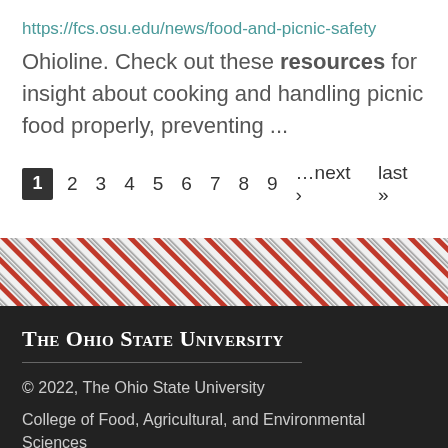https://fcs.osu.edu/news/food-and-picnic-safety
Ohioline. Check out these resources for insight about cooking and handling picnic food properly, preventing ...
1 2 3 4 5 6 7 8 9 …next › last »
[Figure (other): Diagonal red and gray striped decorative bar]
The Ohio State University
© 2022, The Ohio State University
College of Food, Agricultural, and Environmental Sciences